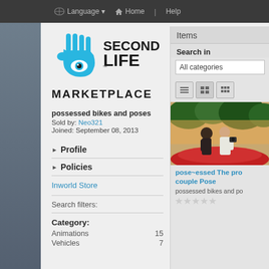Language  Home | Help
[Figure (logo): Second Life Marketplace logo with blue hand/eye icon]
possessed bikes and poses
Sold by: Neo321
Joined: September 08, 2013
▶ Profile
▶ Policies
Inworld Store
Search filters:
Category:
Animations  15
Vehicles  7
Items
Search in
All categories
[Figure (photo): Couple pose product image showing two people in a garden/outdoor scene with red flowers and trees]
pose~essed The pro couple Pose
possessed bikes and po